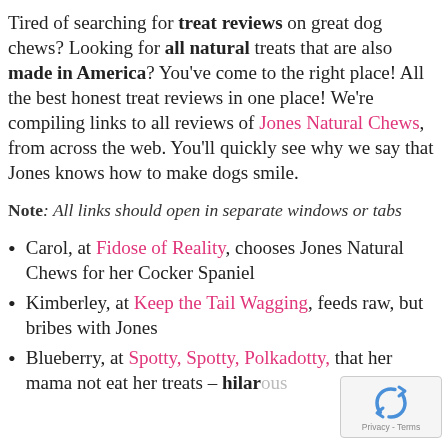Tired of searching for treat reviews on great dog chews? Looking for all natural treats that are also made in America? You've come to the right place! All the best honest treat reviews in one place! We're compiling links to all reviews of Jones Natural Chews, from across the web. You'll quickly see why we say that Jones knows how to make dogs smile.
Note: All links should open in separate windows or tabs
Carol, at Fidose of Reality, chooses Jones Natural Chews for her Cocker Spaniel
Kimberley, at Keep the Tail Wagging, feeds raw, but bribes with Jones
Blueberry, at Spotty, Spotty, Polkadotty, that her mama not eat her treats – hilarious